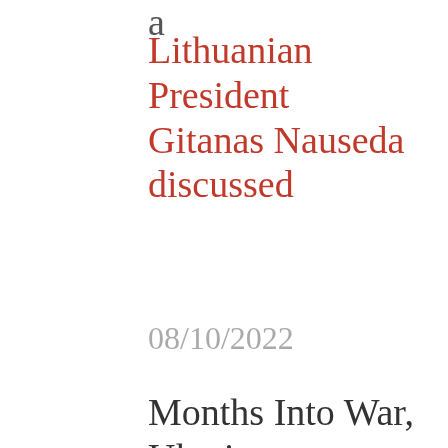a
Lithuanian President Gitanas Nauseda discussed
08/10/2022
Months Into War, Ukraine Refugees Slow to Join EU Workforce